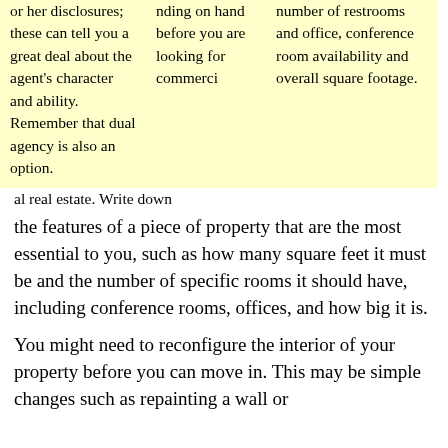or her disclosures; these can tell you a great deal about the agent's character and ability. Remember that dual agency is also an option.
nding on hand before you are looking for commercial real estate. Write down the features of a piece of property that are the most essential to you, such as how many square feet it must be and the number of specific rooms it should have, including conference rooms, offices, and how big it is.
number of restrooms and office, conference room availability and overall square footage.
You might need to reconfigure the interior of your property before you can move in. This may be simple changes such as repainting a wall or